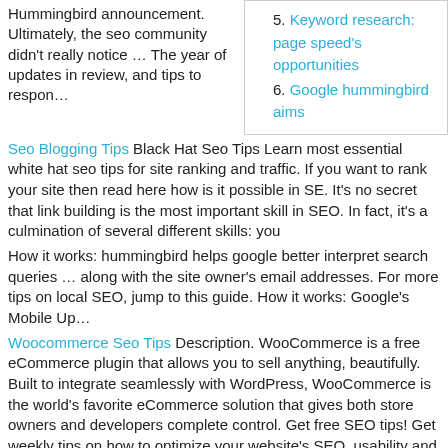Hummingbird announcement. Ultimately, the seo community didn't really notice … The year of updates in review, and tips to respon…
5. Keyword research: page speed's opportunities
6. Google hummingbird aims
Seo Blogging Tips Black Hat Seo Tips Learn most essential white hat seo tips for site ranking and traffic. If you want to rank your site then read here how is it possible in SE. It's no secret that link building is the most important skill in SEO. In fact, it's a culmination of several different skills: you
How it works: hummingbird helps google better interpret search queries … along with the site owner's email addresses. For more tips on local SEO, jump to this guide. How it works: Google's Mobile Up…
Woocommerce Seo Tips Description. WooCommerce is a free eCommerce plugin that allows you to sell anything, beautifully. Built to integrate seamlessly with WordPress, WooCommerce is the world's favorite eCommerce solution that gives both store owners and developers complete control. Get free SEO tips! Get weekly tips on how to optimize your website's SEO, usability and conversion; Be the
Tips on writing content after Hummingbird. How do you write content which addresses the meaning behind a question? So what exactly